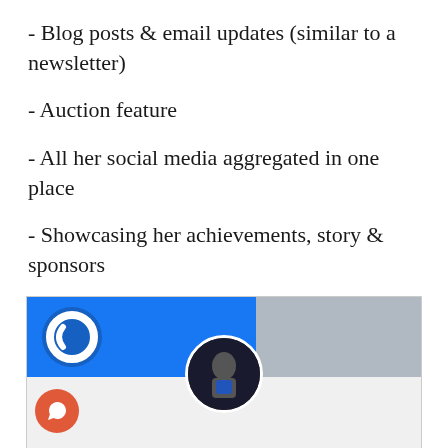- Blog posts & email updates (similar to a newsletter)
- Auction feature
- All her social media aggregated in one place
- Showcasing her achievements, story & sponsors
- Contributions at all time & monthly contributions
[Figure (screenshot): A social media profile page screenshot showing a blue banner with a circular logo on the left, a gray/white banner on the right, a circular profile photo of a woman in athletic wear centered below the banner, and a share/reply button (orange circle with arrow icon) in the bottom-left corner.]